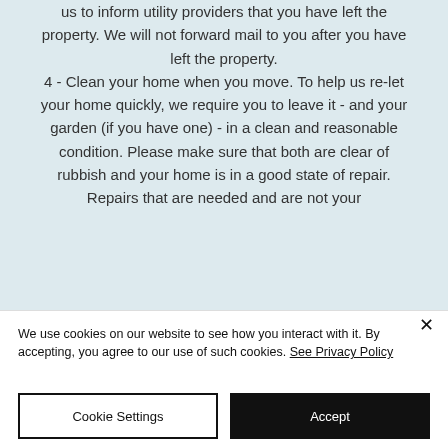us to inform utility providers that you have left the property. We will not forward mail to you after you have left the property. 4 - Clean your home when you move. To help us re-let your home quickly, we require you to leave it - and your garden (if you have one) - in a clean and reasonable condition. Please make sure that both are clear of rubbish and your home is in a good state of repair. Repairs that are needed and are not your
We use cookies on our website to see how you interact with it. By accepting, you agree to our use of such cookies. See Privacy Policy
Cookie Settings
Accept